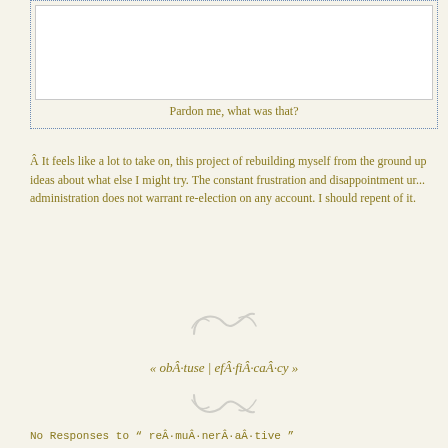[Figure (other): Comment input box with dotted blue border and inner white textarea]
Pardon me, what was that?
Â It feels like a lot to take on, this project of rebuilding myself from the ground up ideas about what else I might try. The constant frustration and disappointment u... administration does not warrant re-election on any account. I should repent of it.
[Figure (illustration): Decorative swirl ornament]
« obÂ·tuse | efÂ·fiÂ·caÂ·cy »
[Figure (illustration): Decorative swirl ornament]
No Responses to " reÂ·muÂ·nerÂ·aÂ·tive "
Sorry, comments for this entry are closed at this time.